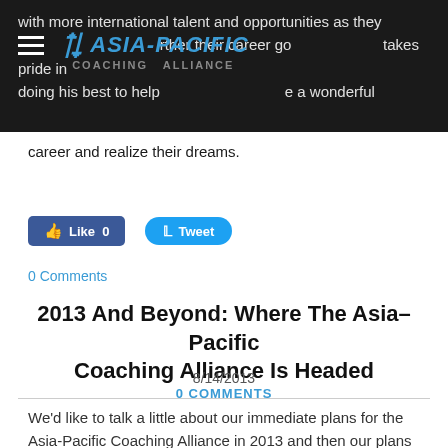Asia-Pacific Coaching Alliance
with more international talent and opportunities as they further their career goals. He takes pride in doing his best to help his clients have a wonderful career and realize their dreams.
[Figure (other): Facebook Like button (0 likes) and Twitter Tweet button]
0 Comments
2013 And Beyond: Where The Asia-Pacific Coaching Alliance Is Headed
8/14/2013
0 COMMENTS
We'd like to talk a little about our immediate plans for the Asia-Pacific Coaching Alliance in 2013 and then our plans